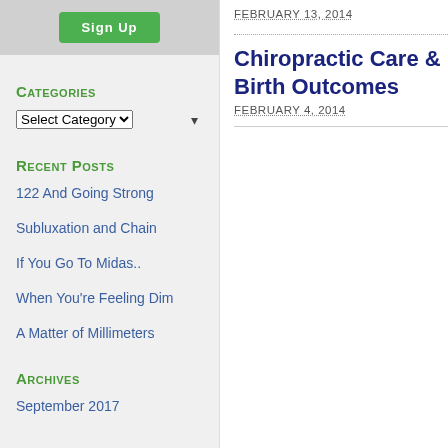Categories
Select Category
Recent Posts
122 And Going Strong
Subluxation and Chain
If You Go To Midas..
When You're Feeling Dim
A Matter of Millimeters
Archives
September 2017
FEBRUARY 13, 2014
Chiropractic Care & Birth Outcomes
FEBRUARY 4, 2014